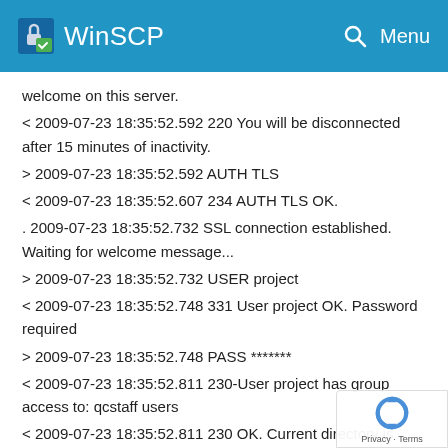WinSCP
welcome on this server.
< 2009-07-23 18:35:52.592 220 You will be disconnected after 15 minutes of inactivity.
> 2009-07-23 18:35:52.592 AUTH TLS
< 2009-07-23 18:35:52.607 234 AUTH TLS OK.
. 2009-07-23 18:35:52.732 SSL connection established. Waiting for welcome message...
> 2009-07-23 18:35:52.732 USER project
< 2009-07-23 18:35:52.748 331 User project OK. Password required
> 2009-07-23 18:35:52.748 PASS *******
< 2009-07-23 18:35:52.811 230-User project has group access to: qcstaff users
< 2009-07-23 18:35:52.811 230 OK. Current directory is